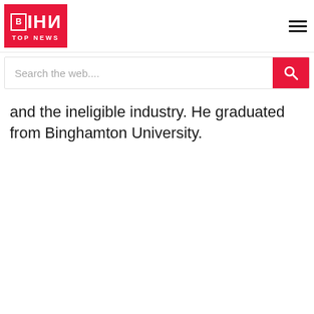BIHIN TOP NEWS
and the ineligible industry. He graduated from Binghamton University.